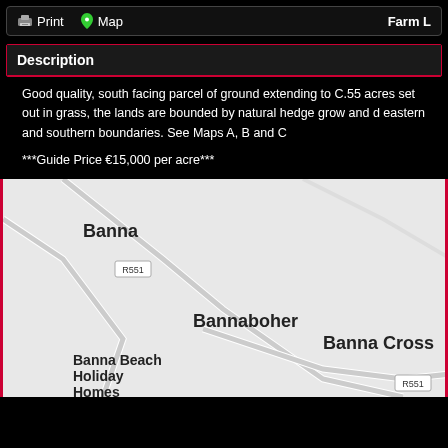Print  Map  Farm L
Description
Good quality, south facing parcel of ground extending to C.55 acres set out in grass, the lands are bounded by natural hedge grow and d eastern and southern boundaries. See Maps A, B and C
***Guide Price €15,000 per acre***
[Figure (map): Google Maps style road map showing the area around Banna, Bannaboher, Banna Cross, and Banna Beach Holiday Homes in County Kerry, Ireland. Roads including R551 are visible.]